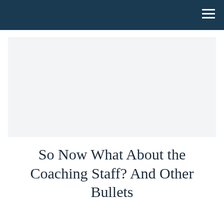[Figure (photo): Light gray placeholder image area below the navigation header]
So Now What About the Coaching Staff? And Other Bullets